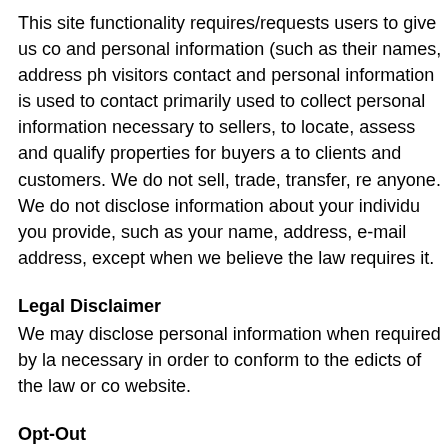This site functionality requires/requests users to give us co and personal information (such as their names, address ph visitors contact and personal information is used to contact primarily used to collect personal information necessary to sellers, to locate, assess and qualify properties for buyers a to clients and customers. We do not sell, trade, transfer, re anyone. We do not disclose information about your individu you provide, such as your name, address, e-mail address, except when we believe the law requires it.
Legal Disclaimer
We may disclose personal information when required by la necessary in order to conform to the edicts of the law or co website.
Opt-Out